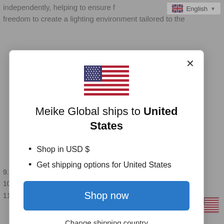independently, helping to ensure f… freedom to create a lighting environment tailored to the
[Figure (screenshot): Modal dialog: Meike Global ships to United States, with US flag, Shop in USD $, Get shipping options for United States, Shop now button, Change shipping country link]
9.Battery: 2AA/AAA/1.5V battery
10.Weight: About 105g
11.Size(L*W*H): 80*60*75mm